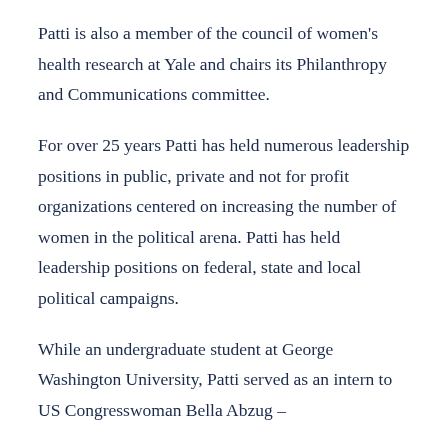Patti is also a member of the council of women's health research at Yale and chairs its Philanthropy and Communications committee.
For over 25 years Patti has held numerous leadership positions in public, private and not for profit organizations centered on increasing the number of women in the political arena. Patti has held leadership positions on federal, state and local political campaigns.
While an undergraduate student at George Washington University, Patti served as an intern to US Congresswoman Bella Abzug –